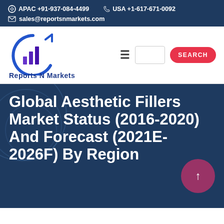APAC +91-937-084-4499   USA +1-617-671-0092   sales@reportsnmarkets.com
[Figure (logo): Reports N Markets logo with bar chart and circular arrow icon in blue/purple gradient, with text 'Reports N Markets' below]
Global Aesthetic Fillers Market Status (2016-2020) And Forecast (2021E-2026F) By Region